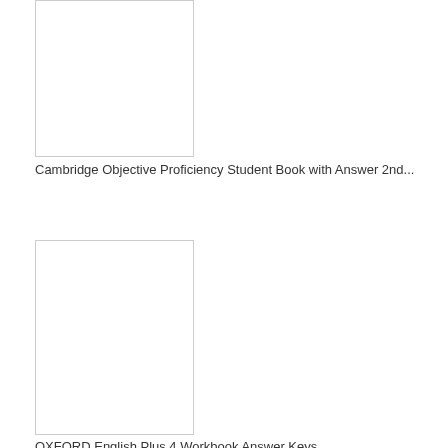[Figure (illustration): Book cover placeholder image (white rectangle with border) for Cambridge Objective Proficiency Student Book with Answer 2nd edition]
Cambridge Objective Proficiency Student Book with Answer 2nd...
[Figure (illustration): Book cover placeholder image (white rectangle with border) for OXFORD English Plus 4 Workbook Answer Keys]
OXFORD English Plus 4 Workbook Answer Keys